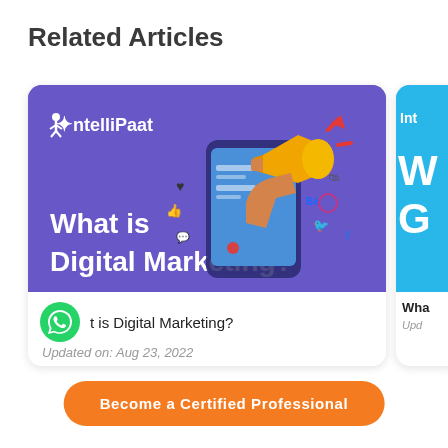Related Articles
[Figure (illustration): IntelliPaat branded card showing 'What is Digital Marketing?' with a purple background, megaphone held by a hand coming out of a smartphone, social media icons, and IntelliPaat logo]
What is Digital Marketing?
Updated on: Aug 23, 2022
[Figure (illustration): Partially visible second IntelliPaat article card with blue background]
Wha
Upd
Become a Certified Professional